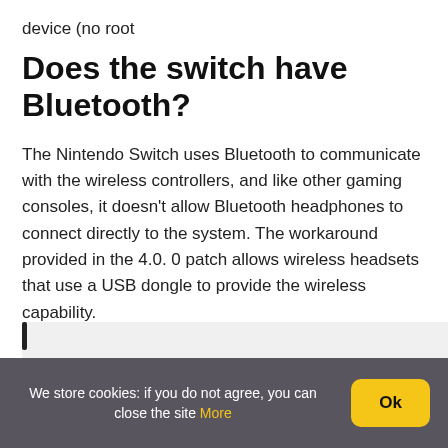device (no root
Does the switch have Bluetooth?
The Nintendo Switch uses Bluetooth to communicate with the wireless controllers, and like other gaming consoles, it doesn't allow Bluetooth headphones to connect directly to the system. The workaround provided in the 4.0. 0 patch allows wireless headsets that use a USB dongle to provide the wireless capability.
We store cookies: if you do not agree, you can close the site More